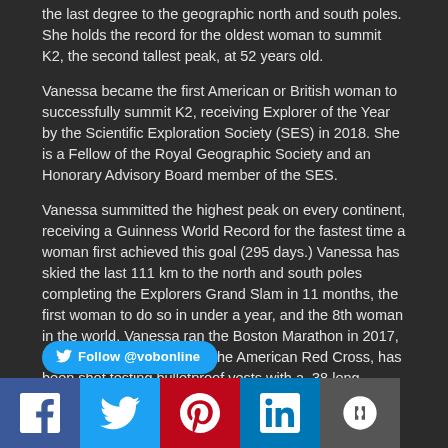the last degree to the geographic north and south poles. She holds the record for the oldest woman to summit K2, the second tallest peak, at 52 years old.
Vanessa became the first American or British woman to successfully summit K2, receiving Explorer of the Year by the Scientific Exploration Society (SES) in 2018. She is a Fellow of the Royal Geographic Society and an Honorary Advisory Board member of the SES.
Vanessa summitted the highest peak on every continent, receiving a Guinness World Record for the fastest time a woman first achieved this goal (295 days.) Vanessa has skied the last 111 km to the north and south poles completing the Explorers Grand Slam in 11 months, the first woman to do so in under a year, and the 8th woman in the world. Vanessa ran the Boston Marathon in 2017, helping to raise money for the American Red Cross, has been shot testing bulletproof vests with a .38 long revolver at point blank range, and rode 200 mph with Mario Andretti at Indianapolis Motor Speedway.
[Figure (other): Social media sharing bar with Twitter follow button (@vobonline) and icons for Facebook, Twitter, Pinterest, LinkedIn, and More]